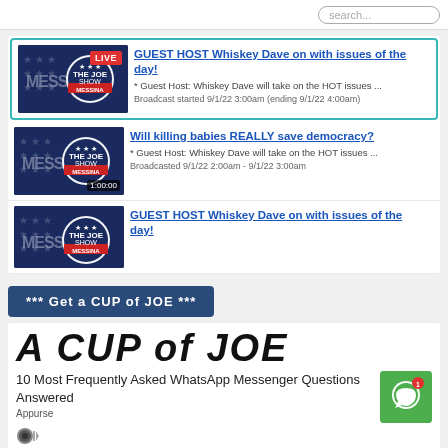search...
GUEST HOST Whiskey Dave on with issues of the day! * Guest Host: Whiskey Dave will take on the HOT issues ... Broadcast started 9/1/22 3:00am (ending 9/1/22 4:00am)
Will killing babies REALLY save democracy? * Guest Host: Whiskey Dave will take on the HOT issues ... Broadcasted 9/1/22 2:00am - 9/1/22 3:00am
GUEST HOST Whiskey Dave on with issues of the day!
*** Get a CUP of JOE ***
A CUP of JOE
10 Most Frequently Asked WhatsApp Messenger Questions Answered
Appurse